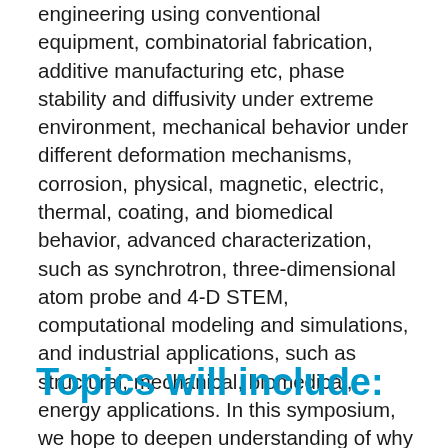engineering using conventional equipment, combinatorial fabrication, additive manufacturing etc, phase stability and diffusivity under extreme environment, mechanical behavior under different deformation mechanisms, corrosion, physical, magnetic, electric, thermal, coating, and biomedical behavior, advanced characterization, such as synchrotron, three-dimensional atom probe and 4-D STEM, computational modeling and simulations, and industrial applications, such as structural, mechanical, biomedical, energy applications. In this symposium, we hope to deepen understanding of why HEMs attract such intensive interest, as well as highlight some challenging issues awaiting resolution to provide viable paths to widespread application and adoption of HEMs.
Topics will include: